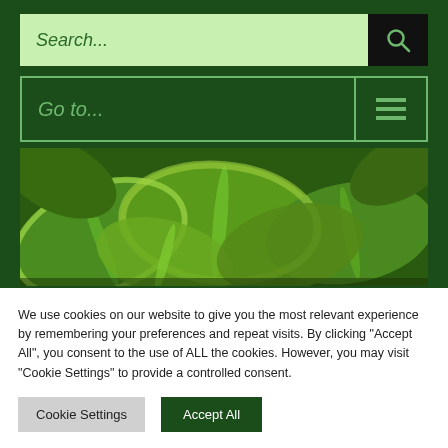[Figure (screenshot): Search bar with light green background input field and dark search icon button]
[Figure (screenshot): Navigation bar with dark green background showing 'Go to...' text and hamburger menu icon]
[Figure (photo): Photo of Hosta Fortunei var. Aureomarginata plant leaves, green foliage]
Hosta Fortunei var. Aureomarginata
£7.85
We use cookies on our website to give you the most relevant experience by remembering your preferences and repeat visits. By clicking "Accept All", you consent to the use of ALL the cookies. However, you may visit "Cookie Settings" to provide a controlled consent.
Cookie Settings
Accept All